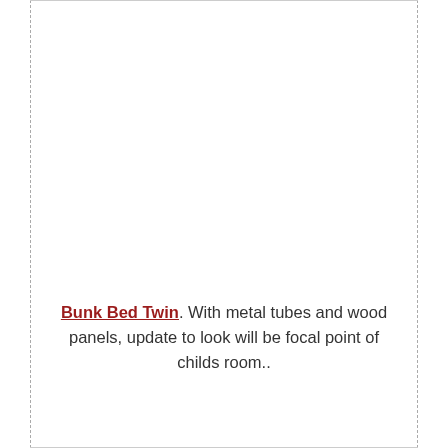Bunk Bed Twin. With metal tubes and wood panels, update to look will be focal point of childs room..